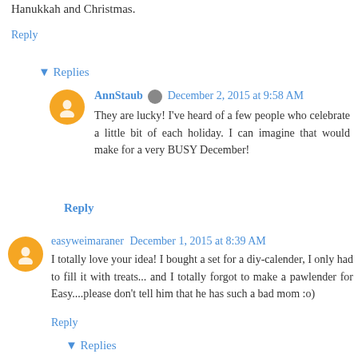Hanukkah and Christmas.
Reply
▾ Replies
AnnStaub  December 2, 2015 at 9:58 AM
They are lucky! I've heard of a few people who celebrate a little bit of each holiday. I can imagine that would make for a very BUSY December!
Reply
easyweimaraner  December 1, 2015 at 8:39 AM
I totally love your idea! I bought a set for a diy-calender, I only had to fill it with treats... and I totally forgot to make a pawlender for Easy....please don't tell him that he has such a bad mom :o)
Reply
▾ Replies